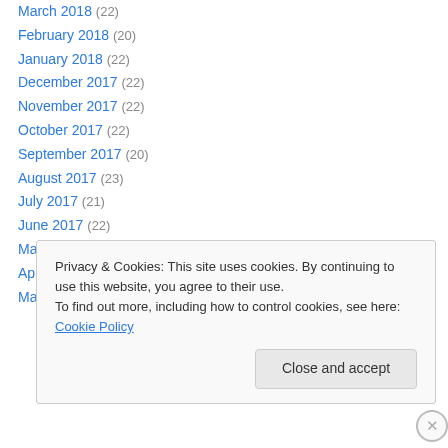March 2018 (22)
February 2018 (20)
January 2018 (22)
December 2017 (22)
November 2017 (22)
October 2017 (22)
September 2017 (20)
August 2017 (23)
July 2017 (21)
June 2017 (22)
May 2017 (23)
April 2017 (20)
March 2017 (23)
Privacy & Cookies: This site uses cookies. By continuing to use this website, you agree to their use. To find out more, including how to control cookies, see here: Cookie Policy